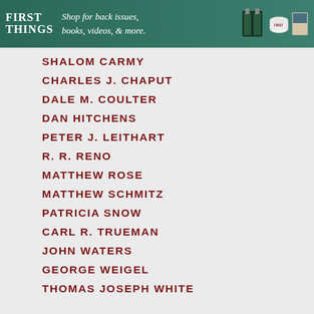[Figure (other): First Things advertisement banner: teal/green gradient background with 'FIRST THINGS' logo text on left, italic text 'Shop for back issues, books, videos, & more.' in center, and product images (binder, mug, book) on right]
SHALOM CARMY
CHARLES J. CHAPUT
DALE M. COULTER
DAN HITCHENS
PETER J. LEITHART
R. R. RENO
MATTHEW ROSE
MATTHEW SCHMITZ
PATRICIA SNOW
CARL R. TRUEMAN
JOHN WATERS
GEORGE WEIGEL
THOMAS JOSEPH WHITE